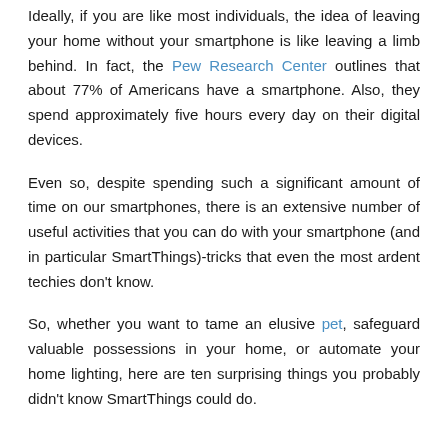Ideally, if you are like most individuals, the idea of leaving your home without your smartphone is like leaving a limb behind. In fact, the Pew Research Center outlines that about 77% of Americans have a smartphone. Also, they spend approximately five hours every day on their digital devices.
Even so, despite spending such a significant amount of time on our smartphones, there is an extensive number of useful activities that you can do with your smartphone (and in particular SmartThings)-tricks that even the most ardent techies don't know.
So, whether you want to tame an elusive pet, safeguard valuable possessions in your home, or automate your home lighting, here are ten surprising things you probably didn't know SmartThings could do.